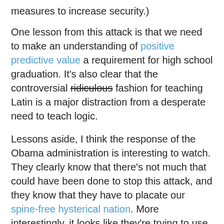measures to increase security.)
One lesson from this attack is that we need to make an understanding of positive predictive value a requirement for high school graduation. It's also clear that the controversial ridiculous fashion for teaching Latin is a major distraction from a desperate need to teach logic.
Lessons aside, I think the response of the Obama administration is interesting to watch. They clearly know that there's not much that could have been done to stop this attack, and they know that they have to placate our spine-free hysterical nation. More interestingly, it looks like they're trying to use this to attack the incompetent intelligence network we've inherited – even though, in this case, even a very good network would have failed.
It's the equivalent of jailing a mobster for tax evasion when you can't get 'em for murder and mayhem.
PS. I'm so glad our heroic savior is a leftie foreigner who makes "low budget films". At least we've been spared the usual celebratory histrionics.